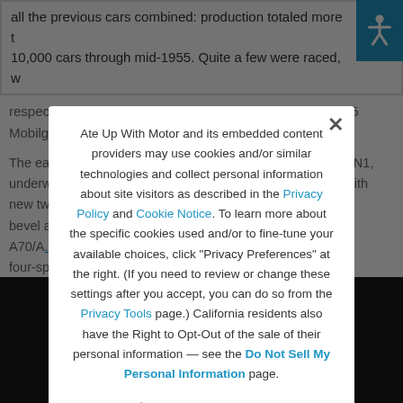all the previous cars combined: production totaled more than 10,000 cars through mid-1955. Quite a few were raced, with respectable results; one car even won its class in the 1955 Mobilgas
The early Healeys also introduced the later Austin-Healey BN1, underwent a major revision for the BN2, which brought a new two-speed overdrive, hypoid-bevel axle, and revised gearbox and the A70/A90 was replaced by the four-speed/two-speed overdrive Austin-Healey 100M and a longer stroke 100S. Available in two colors, two-tone paint. The revised car was designated the BN2.
[Figure (photo): Dark/black photograph of a vintage car, partially visible at the bottom of the page]
Ate Up With Motor and its embedded content providers may use cookies and/or similar technologies and collect personal information about site visitors as described in the Privacy Policy and Cookie Notice. To learn more about the specific cookies used and/or to fine-tune your available choices, click "Privacy Preferences" at the right. (If you need to review or change these settings after you accept, you can do so from the Privacy Tools page.) California residents also have the Right to Opt-Out of the sale of their personal information — see the Do Not Sell My Personal Information page.
Privacy Preferences
I Agree